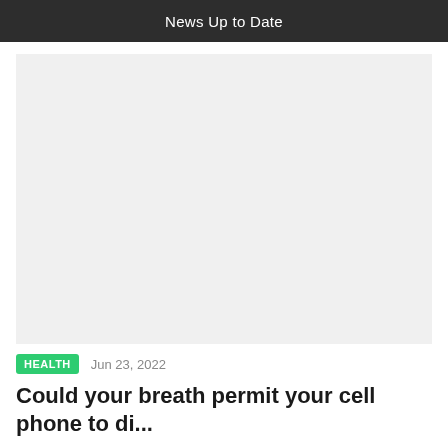News Up to Date
[Figure (photo): Large placeholder image area with light gray background]
HEALTH   Jun 23, 2022
Could your breath permit your cell phone to di...